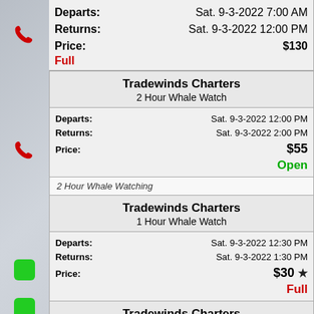| Departs: | Sat. 9-3-2022 7:00 AM |
| Returns: | Sat. 9-3-2022 12:00 PM |
| Price: | $130 |
|  | Full |
Tradewinds Charters
2 Hour Whale Watch
| Departs: | Sat. 9-3-2022 12:00 PM |
| Returns: | Sat. 9-3-2022 2:00 PM |
| Price: | $55 |
|  | Open |
2 Hour Whale Watching
Tradewinds Charters
1 Hour Whale Watch
| Departs: | Sat. 9-3-2022 12:30 PM |
| Returns: | Sat. 9-3-2022 1:30 PM |
| Price: | $30 ★ |
|  | Full |
Tradewinds Charters
1 Hour Whale Watch
| Departs: | Sat. 9-3-2022 12:30 PM |
| Returns: | Sat. 9-3-2022 1:30 PM |